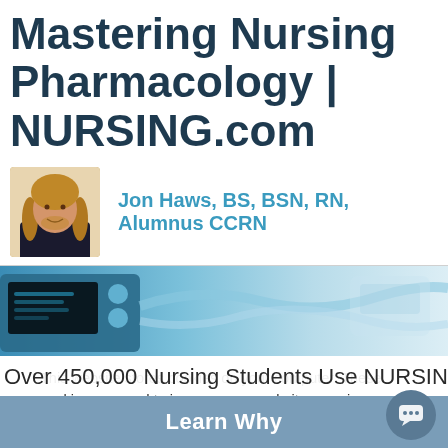Mastering Nursing Pharmacology | NURSING.com
[Figure (photo): Author photo of Jon Haws with long blonde hair, wearing a dark shirt]
Jon Haws, BS, BSN, RN, Alumnus CCRN
[Figure (photo): Hero banner image of blue medical/nursing equipment devices, blurred background]
This website stores cookies on your computer. These cookies are used to improve your website experience and provide more personalized services to you, both on this website and through other media. To find out more about the cookies we use,
Over 450,000 Nursing Students Use NURSING.com
Learn Why